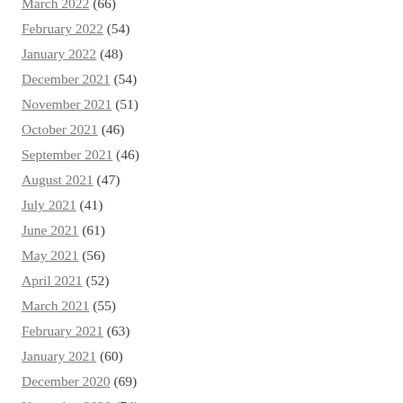March 2022 (66)
February 2022 (54)
January 2022 (48)
December 2021 (54)
November 2021 (51)
October 2021 (46)
September 2021 (46)
August 2021 (47)
July 2021 (41)
June 2021 (61)
May 2021 (56)
April 2021 (52)
March 2021 (55)
February 2021 (63)
January 2021 (60)
December 2020 (69)
November 2020 (74)
October 2020 (83)
September 2020 (80)